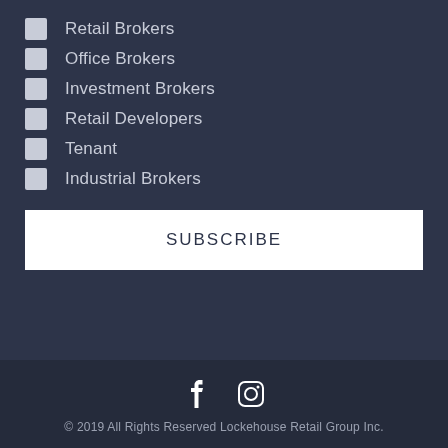Retail Brokers
Office Brokers
Investment Brokers
Retail Developers
Tenant
Industrial Brokers
SUBSCRIBE
[Figure (illustration): Facebook and Instagram social media icons]
© 2019 All Rights Reserved Lockehouse Retail Group Inc.